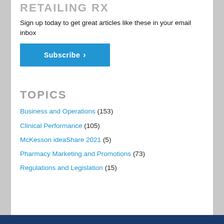RETAILING RX
Sign up today to get great articles like these in your email inbox
[Figure (other): Blue Subscribe button with right arrow chevron]
TOPICS
Business and Operations (153)
Clinical Performance (105)
McKesson ideaShare 2021 (5)
Pharmacy Marketing and Promotions (73)
Regulations and Legislation (15)